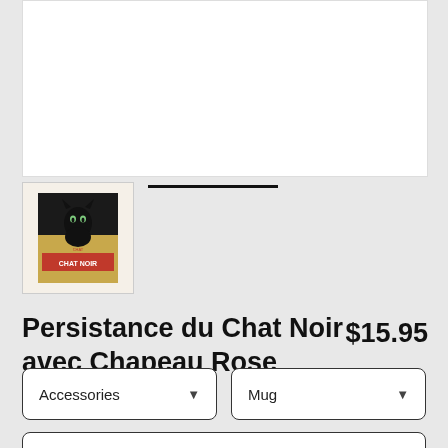[Figure (photo): White background product image area (main product photo, cropped at top)]
[Figure (photo): Thumbnail image of Chat Noir poster artwork - black cat on golden/tan background with red text]
Persistance du Chat Noir avec Chapeau Rose
$15.95
Accessories (dropdown)
Mug (dropdown)
Standard (dropdown)